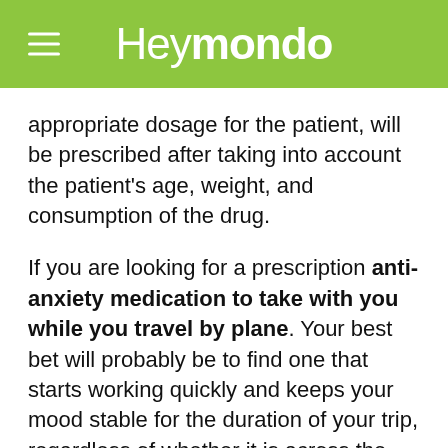Heymondo
appropriate dosage for the patient, will be prescribed after taking into account the patient's age, weight, and consumption of the drug.
If you are looking for a prescription anti-anxiety medication to take with you while you travel by plane. Your best bet will probably be to find one that starts working quickly and keeps your mood stable for the duration of your trip, regardless of whether it is across the country or around the world.